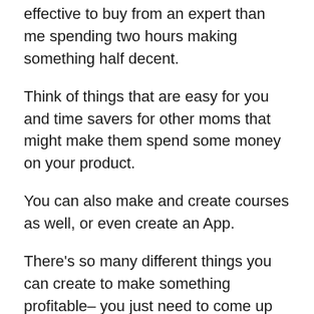effective to buy from an expert than me spending two hours making something half decent.
Think of things that are easy for you and time savers for other moms that might make them spend some money on your product.
You can also make and create courses as well, or even create an App.
There's so many different things you can create to make something profitable– you just need to come up with an idea and make and market a product!
Social Media Manager, Marketer,